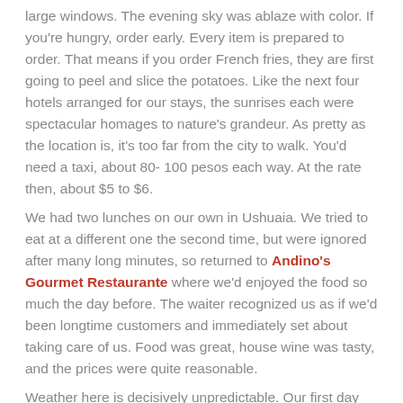large windows. The evening sky was ablaze with color. If you're hungry, order early. Every item is prepared to order. That means if you order French fries, they are first going to peel and slice the potatoes. Like the next four hotels arranged for our stays, the sunrises each were spectacular homages to nature's grandeur. As pretty as the location is, it's too far from the city to walk. You'd need a taxi, about 80- 100 pesos each way. At the rate then, about $5 to $6.
We had two lunches on our own in Ushuaia. We tried to eat at a different one the second time, but were ignored after many long minutes, so returned to Andino's Gourmet Restaurante where we'd enjoyed the food so much the day before. The waiter recognized us as if we'd been longtime customers and immediately set about taking care of us. Food was great, house wine was tasty, and the prices were quite reasonable.
Weather here is decisively unpredictable. Our first day we had warm weather under clear skies, a real rarity. The wind and weather are so severe most of the year that people are paid extra to live there. The next morning, we strolled along the shore about 9 am and enjoyed the same moderate temperature, the same blue water and bluer sky. Within just a couple minutes, the rain and